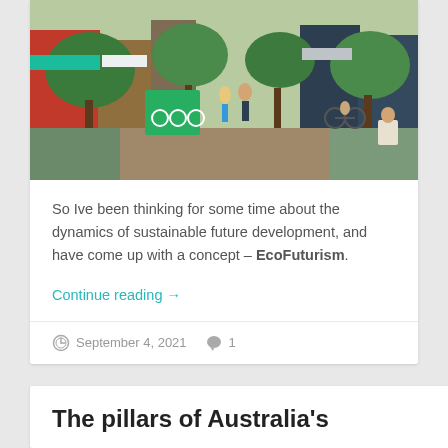[Figure (photo): A pedestrian street scene with people walking, cycling, trees, and colorful storefronts on both sides]
So Ive been thinking for some time about the dynamics of sustainable future development, and have come up with a concept – EcoFuturism.
Continue reading →
September 4, 2021  1
The pillars of Australia's